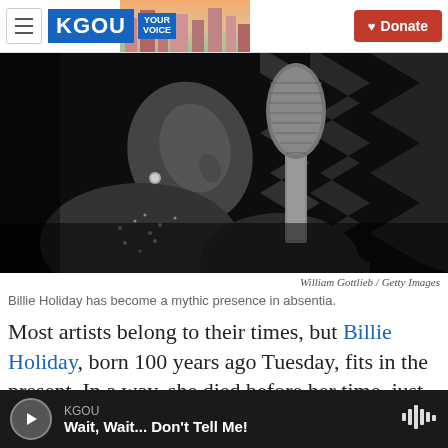KGOU — Your Voice — Donate
[Figure (photo): Black and white photograph of Billie Holiday singing into a vintage microphone, wearing a pearl earring and sparkly top, eyes closed, head tilted back]
William Gottlieb / Getty Images
Billie Holiday has become a mythic presence in absentia.
Most artists belong to their times, but Billie Holiday, born 100 years ago Tuesday, fits in the present. In a way, she died before her time, just as the country was beginning to talk about race, drugs, feminism
KGOU — Wait, Wait... Don't Tell Me!